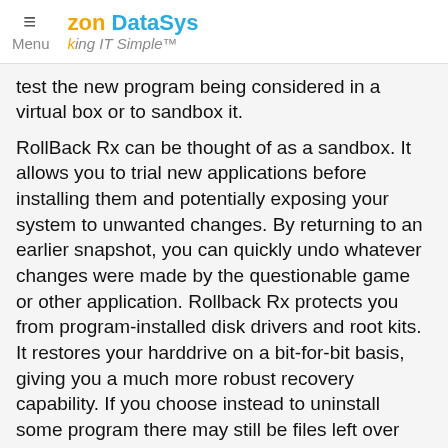≡ Menu | zon DataSys Making IT Simple™
test the new program being considered in a virtual box or to sandbox it.
RollBack Rx can be thought of as a sandbox. It allows you to trial new applications before installing them and potentially exposing your system to unwanted changes. By returning to an earlier snapshot, you can quickly undo whatever changes were made by the questionable game or other application. Rollback Rx protects you from program-installed disk drivers and root kits. It restores your harddrive on a bit-for-bit basis, giving you a much more robust recovery capability. If you choose instead to uninstall some program there may still be files left over and changes made to